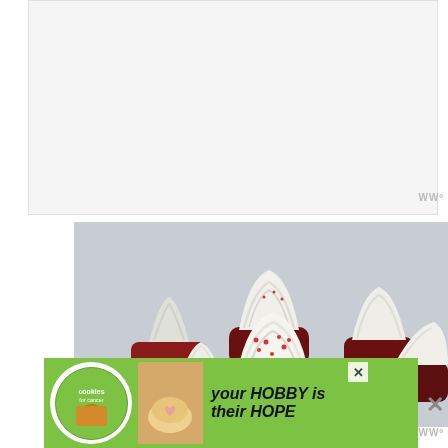[Figure (other): White/blank advertisement banner placeholder area at top of page]
[Figure (photo): Close-up photograph of red velvet cupcakes with white cream cheese frosting swirls and red sprinkles, displayed on a white plate against a light gray background]
[Figure (other): Green advertisement banner at bottom: cookies for cancer charity ad with text 'your HOBBY is their HOPE', featuring a cookie logo and cookie image with heart shape]